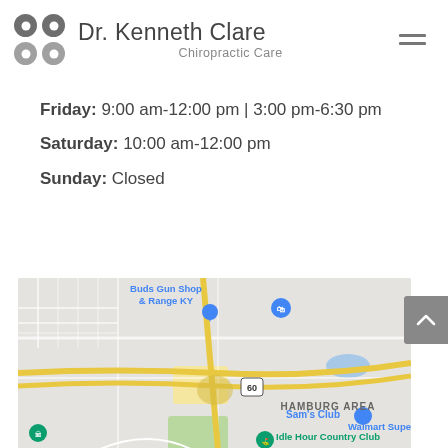Dr. Kenneth Clare Chiropractic Care
Friday: 9:00 am-12:00 pm | 3:00 pm-6:30 pm
Saturday: 10:00 am-12:00 pm
Sunday: Closed
[Figure (map): Google Maps screenshot showing Hamburg Area in Kentucky near US-60, with landmarks including Buds Gun Shop & Range KY, Sam's Club, Walmart Supercenter, and Idle Hour Country Club. Road network visible with yellow highway lines.]